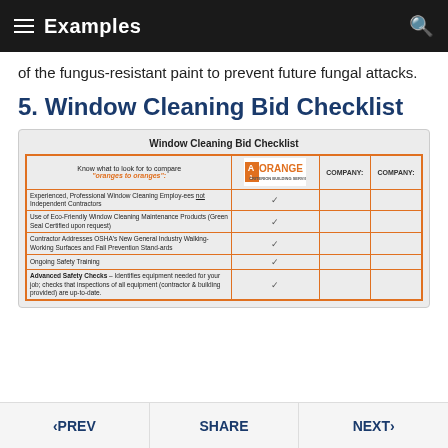Examples
of the fungus-resistant paint to prevent future fungal attacks.
5. Window Cleaning Bid Checklist
[Figure (table-as-image): Window Cleaning Bid Checklist table with orange border, A1 Orange logo, columns for company comparisons, and rows including: Experienced Professional Window Cleaning Employees not Independent Contractors; Use of Eco-Friendly Window Cleaning Maintenance Products (Green Seal Certified upon request); Contractor Addresses OSHA's New General Industry Walking-Working Surfaces and Fall Prevention Standards; Ongoing Safety Training; Advanced Safety Checks - identifies equipment needed for your job; checks that inspections of all equipment (contractor & building provided) are up-to-date.]
< PREV    SHARE    NEXT >